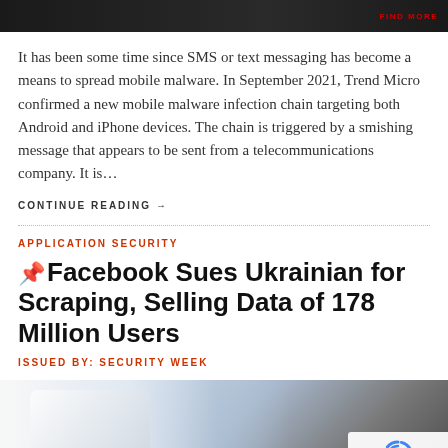[Figure (photo): Dark banner image at top of page with red text 'FIND MORE' on the right side]
It has been some time since SMS or text messaging has become a means to spread mobile malware. In September 2021, Trend Micro confirmed a new mobile malware infection chain targeting both Android and iPhone devices. The chain is triggered by a smishing message that appears to be sent from a telecommunications company. It is…
CONTINUE READING →
APPLICATION SECURITY
📌 Facebook Sues Ukrainian for Scraping, Selling Data of 178 Million Users
ISSUED BY: SECURITY WEEK
[Figure (photo): Photo of a smartphone and a red stylus/pen with a hand, with a reCAPTCHA privacy overlay in the bottom right corner]